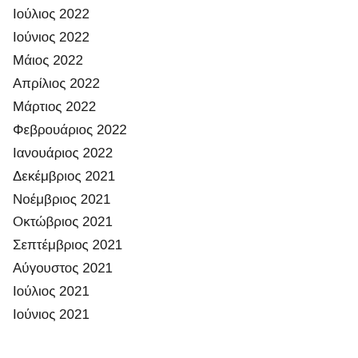Ιούλιος 2022
Ιούνιος 2022
Μάιος 2022
Απρίλιος 2022
Μάρτιος 2022
Φεβρουάριος 2022
Ιανουάριος 2022
Δεκέμβριος 2021
Νοέμβριος 2021
Οκτώβριος 2021
Σεπτέμβριος 2021
Αύγουστος 2021
Ιούλιος 2021
Ιούνιος 2021